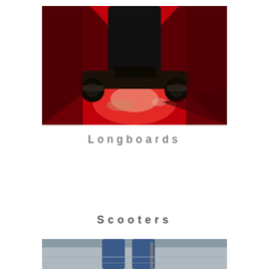[Figure (photo): Dark silhouette of a person holding a skateboard against a vivid red-lit background. The underside of the skateboard and wheels are visible, with bright red illumination on a concrete or wooden surface below.]
Longboards
Scooters
[Figure (photo): Partial photo showing legs of a person in blue jeans standing near what appears to be a scooter on a grey surface or walkway.]